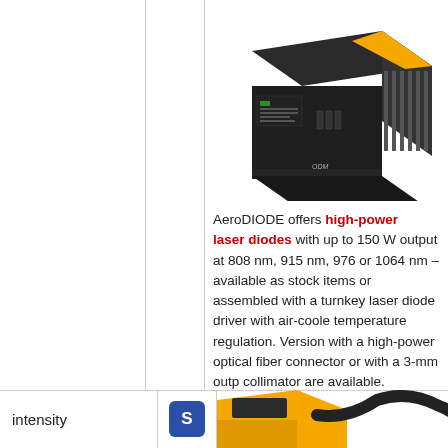[Figure (photo): High-power laser diode unit - black box shaped device with yellow branding stripe and front panel controls, shown in 3D perspective view. ODM branding visible.]
AeroDIODE offers high-power laser diodes with up to 150 W output at 808 nm, 915 nm, 976 or 1064 nm – available as stock items or assembled with a turnkey laser diode driver with air-cooled temperature regulation. Versions with a high-power optical fiber connector or with a 3-mm output collimator are available.
intensity
[Figure (photo): Partial view of a yellow and black cable/fiber optic component]